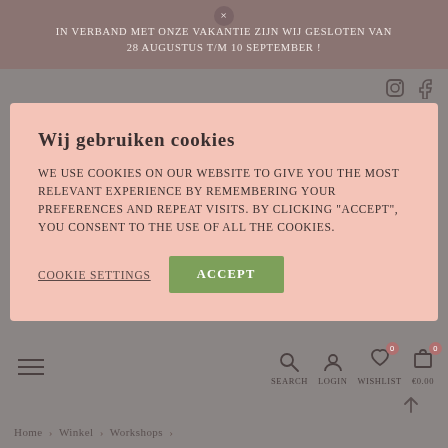× In verband met onze vakantie zijn wij gesloten van 28 augustus t/m 10 September !
[Figure (screenshot): Social media icons: Instagram and Facebook in the top right of the page]
Wij gebruiken cookies
We use cookies on our website to give you the most relevant experience by remembering your preferences and repeat visits. By clicking "Accept", you consent to the use of All the cookies.
Cookie settings   Accept
[Figure (screenshot): Bottom navigation bar with hamburger menu, Search, Login, Wishlist (0), and cart €0.00 (0) icons]
Home > Winkel > Workshops >